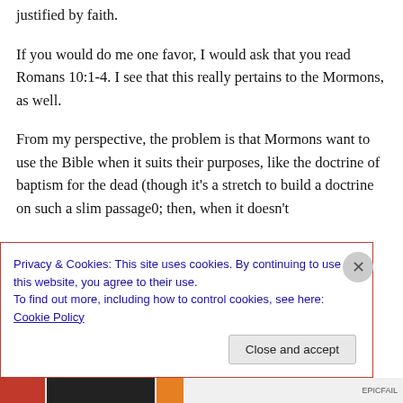justified by faith.
If you would do me one favor, I would ask that you read Romans 10:1-4. I see that this really pertains to the Mormons, as well.
From my perspective, the problem is that Mormons want to use the Bible when it suits their purposes, like the doctrine of baptism for the dead (though it's a stretch to build a doctrine on such a slim passage0; then, when it doesn't
Privacy & Cookies: This site uses cookies. By continuing to use this website, you agree to their use.
To find out more, including how to control cookies, see here: Cookie Policy
Close and accept